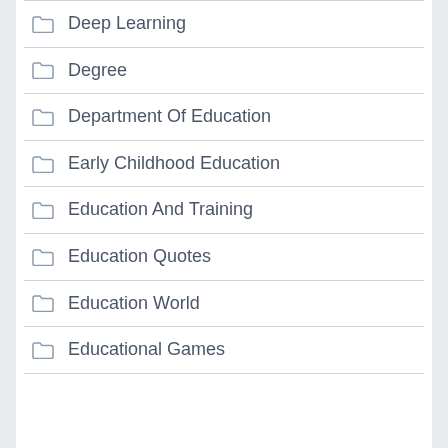Deep Learning
Degree
Department Of Education
Early Childhood Education
Education And Training
Education Quotes
Education World
Educational Games